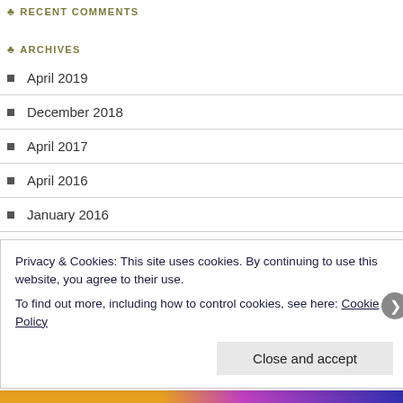RECENT COMMENTS
ARCHIVES
April 2019
December 2018
April 2017
April 2016
January 2016
October 2015
September 2015
August 2015
July 2015
Privacy & Cookies: This site uses cookies. By continuing to use this website, you agree to their use.
To find out more, including how to control cookies, see here: Cookie Policy
Close and accept